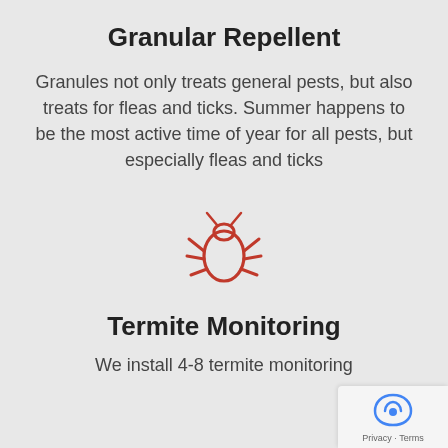Granular Repellent
Granules not only treats general pests, but also treats for fleas and ticks. Summer happens to be the most active time of year for all pests, but especially fleas and ticks
[Figure (illustration): Red outline icon of a tick/bug insect]
Termite Monitoring
We install 4-8 termite monitoring